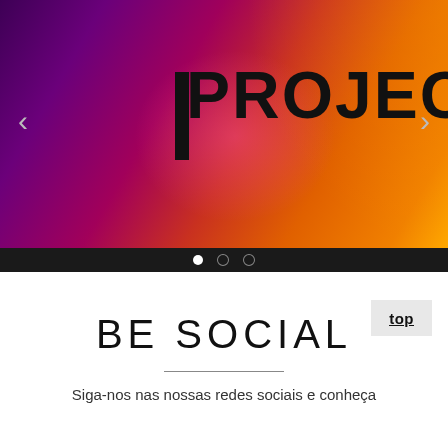[Figure (screenshot): Slideshow banner image showing 'PROJECTS' text in large bold letters over a purple-to-orange gradient background. Left and right navigation arrows visible on sides. Slide indicator dots shown on dark bar below.]
BE SOCIAL
Siga-nos nas nossas redes sociais e conheça